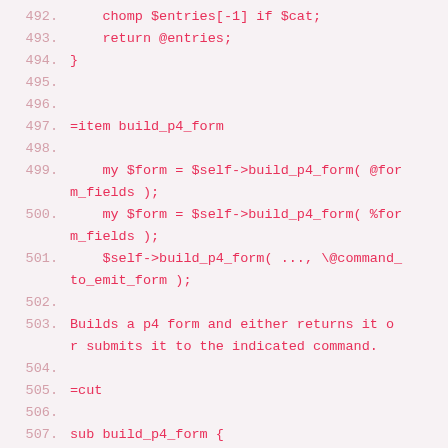Code listing lines 492-512 showing Perl code with build_p4_form subroutine